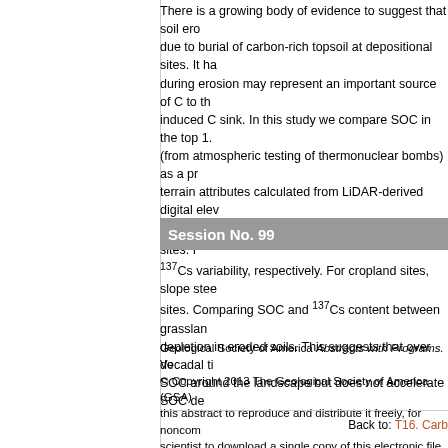There is a growing body of evidence to suggest that soil erosion acts as a C sink due to burial of carbon-rich topsoil at depositional sites. It has been suggested that CO2 during erosion may represent an important source of C to the atmosphere, offsetting the erosion-induced C sink. In this study we compare SOC in the top 1.5m alongside 137Cs inventories (from atmospheric testing of thermonuclear bombs) as a proxy for soil redistribution, and terrain attributes calculated from LiDAR-derived digital elevation models. Large variability is observed in SOC and 137Cs content from grassland sites. For grassland sites, curvature explains 137Cs variability, respectively. For cropland sites, slope steepness explains variability between sites. Comparing SOC and 137Cs content between grassland and cropland reveals higher C depletion in eroded soils. This suggests that over decadal timescales, erosion redistributes SOC around the landscape but does not accelerate SOC decomposition.
Session No. 99
Geological Society of America Abstracts with Programs. Vol. 45, No. 7. © Copyright 2013 The Geological Society of America (GSA), all rights reserved. GSA grants permission to individual scientists to download a single copy of this electronic file and reproduce up to 20 paper copies for noncommercial purposes advancing science and education, including classroom use, providing all reproductions include the complete content shown here, including the author information. All other forms of reproduction and/or transmittal are prohibited without written consent from GSA Copyright Permissions.
Back to: T16. Carb...